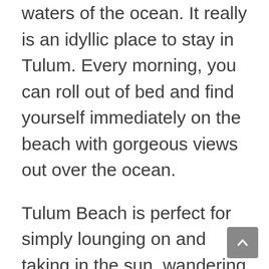waters of the ocean. It really is an idyllic place to stay in Tulum. Every morning, you can roll out of bed and find yourself immediately on the beach with gorgeous views out over the ocean.
Tulum Beach is perfect for simply lounging on and taking in the sun, wandering along the endless white sand, and taking in the scenery or bathing in the sparkling turquoise waters. There are tons of luxury hotels in Tulum on this part of the beach. They are certainly worth checking out for their spectacular seaside location. If you are looking for a picture-perfect honeymoon